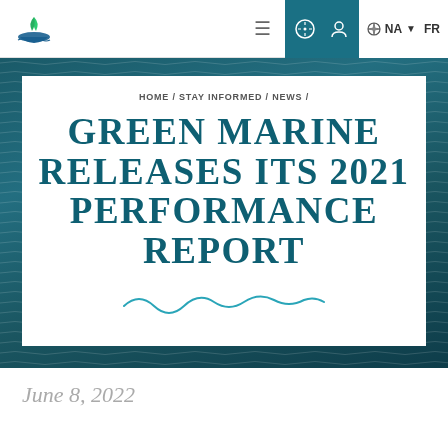HOME / STAY INFORMED / NEWS /
GREEN MARINE RELEASES ITS 2021 PERFORMANCE REPORT
[Figure (illustration): Decorative teal wave line illustration]
June 8, 2022